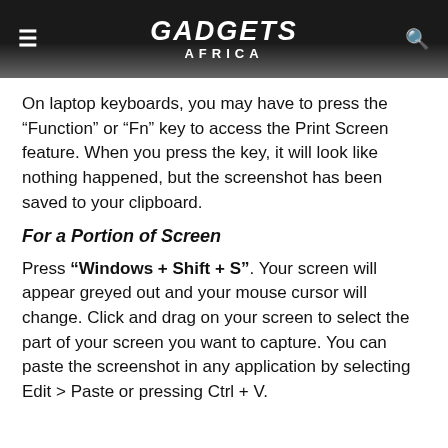GADGETS AFRICA
On laptop keyboards, you may have to press the “Function” or “Fn” key to access the Print Screen feature. When you press the key, it will look like nothing happened, but the screenshot has been saved to your clipboard.
For a Portion of Screen
Press “Windows + Shift + S”. Your screen will appear greyed out and your mouse cursor will change. Click and drag on your screen to select the part of your screen you want to capture. You can paste the screenshot in any application by selecting Edit > Paste or pressing Ctrl + V.